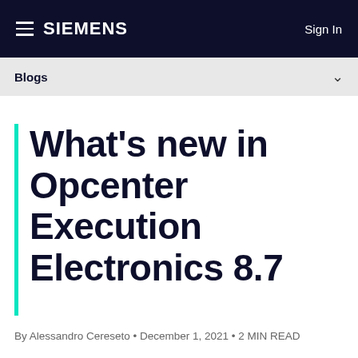SIEMENS   Sign In
Blogs
What's new in Opcenter Execution Electronics 8.7
By Alessandro Cereseto • December 1, 2021 • 2 MIN READ